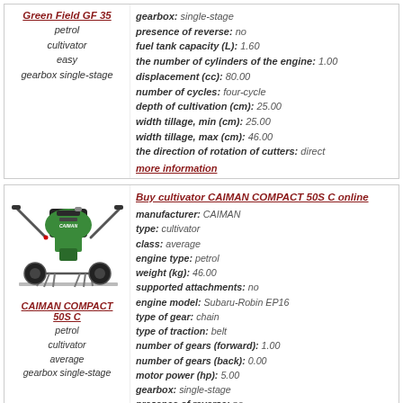Green Field GF 35 — petrol cultivator easy gearbox single-stage
gearbox: single-stage | presence of reverse: no | fuel tank capacity (L): 1.60 | the number of cylinders of the engine: 1.00 | displacement (cc): 80.00 | number of cycles: four-cycle | depth of cultivation (cm): 25.00 | width tillage, min (cm): 25.00 | width tillage, max (cm): 46.00 | the direction of rotation of cutters: direct | more information
[Figure (photo): Photo of CAIMAN COMPACT 50S C petrol cultivator with green body and wheels]
CAIMAN COMPACT 50S C — petrol cultivator average gearbox single-stage
Buy cultivator CAIMAN COMPACT 50S C online | manufacturer: CAIMAN | type: cultivator | class: average | engine type: petrol | weight (kg): 46.00 | supported attachments: no | engine model: Subaru-Robin EP16 | type of gear: chain | type of traction: belt | number of gears (forward): 1.00 | number of gears (back): 0.00 | motor power (hp): 5.00 | gearbox: single-stage | presence of reverse: no | fuel tank capacity (L): 3.40 | the number of cylinders of the engine: 0.00 | displacement (cc): 126.00 | number of cycles: four-cycle | depth of cultivation (cm): 32.00